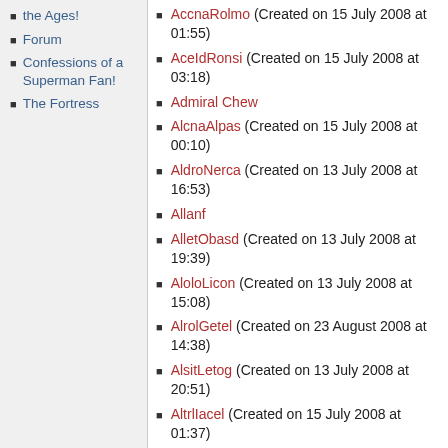the Ages!
Forum
Confessions of a Superman Fan!
The Fortress
AccnaRolmo (Created on 15 July 2008 at 01:55)
AceIdRonsi (Created on 15 July 2008 at 03:18)
Admiral Chew
AlcnaAlpas (Created on 15 July 2008 at 00:10)
AldroNerca (Created on 13 July 2008 at 16:53)
Allanf
AlletObasd (Created on 13 July 2008 at 19:39)
AloloLicon (Created on 13 July 2008 at 15:08)
AlrolGetel (Created on 23 August 2008 at 14:38)
AlsitLetog (Created on 13 July 2008 at 20:51)
AltrlIacel (Created on 15 July 2008 at 01:37)
AltrtRocdo (Created on 11 July 2008 at 23:20)
Anonymous